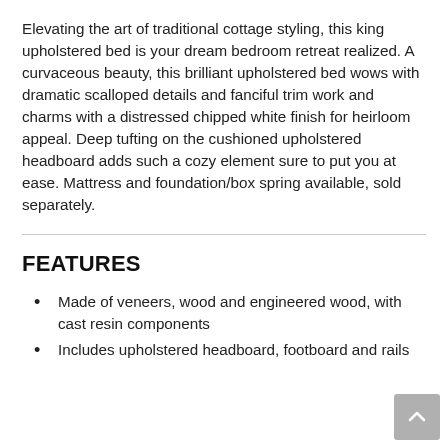Elevating the art of traditional cottage styling, this king upholstered bed is your dream bedroom retreat realized. A curvaceous beauty, this brilliant upholstered bed wows with dramatic scalloped details and fanciful trim work and charms with a distressed chipped white finish for heirloom appeal. Deep tufting on the cushioned upholstered headboard adds such a cozy element sure to put you at ease. Mattress and foundation/box spring available, sold separately.
FEATURES
Made of veneers, wood and engineered wood, with cast resin components
Includes upholstered headboard, footboard and rails